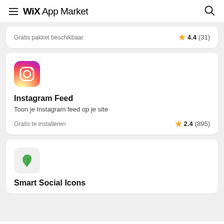Wix App Market
Gratis pakket beschikbaar   ★ 4.4 (31)
Instagram Feed
Toon je Instagram feed op je site
Gratis te installeren   ★ 2.4 (895)
Smart Social Icons